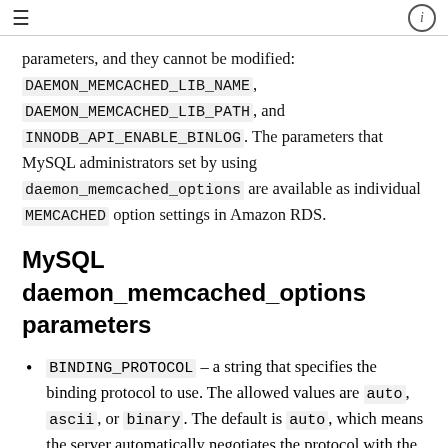≡  ⓘ
parameters, and they cannot be modified: DAEMON_MEMCACHED_LIB_NAME, DAEMON_MEMCACHED_LIB_PATH, and INNODB_API_ENABLE_BINLOG. The parameters that MySQL administrators set by using daemon_memcached_options are available as individual MEMCACHED option settings in Amazon RDS.
MySQL daemon_memcached_options parameters
BINDING_PROTOCOL – a string that specifies the binding protocol to use. The allowed values are auto, ascii, or binary. The default is auto, which means the server automatically negotiates the protocol with the client. The option does not